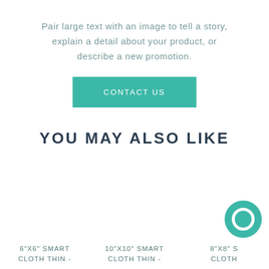Pair large text with an image to tell a story, explain a detail about your product, or describe a new promotion.
CONTACT US
YOU MAY ALSO LIKE
6"X6" SMART CLOTH THIN -
10"X10" SMART CLOTH THIN -
8"X8" SMART CLOTH THIN -